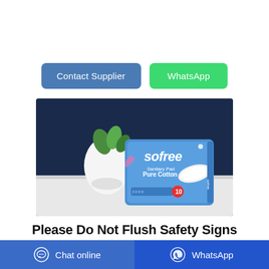[Figure (other): Two call-to-action buttons: 'Contact Supplier' (blue) and 'WhatsApp' (green)]
[Figure (photo): Product photo of Sofree brand sanitary pads (Pure Cotton) in a blue package showing quantity 10, displayed on a white surface with a white vase and green plant in the background against a dark navy backdrop.]
Please Do Not Flush Safety Signs
[Figure (other): Bottom navigation bar with 'Chat online' button (blue, with chat icon) on left and 'WhatsApp' button (dark blue, with WhatsApp icon) on right.]